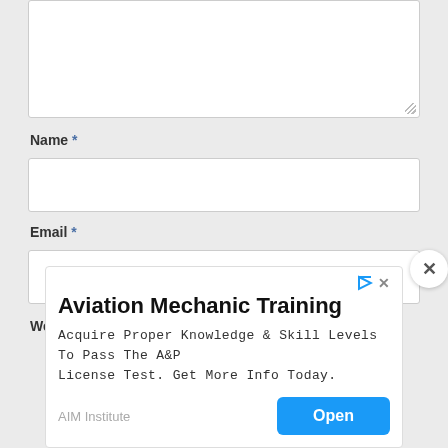[Figure (screenshot): A web form comment textarea (empty, white, with resize handle at bottom-right)]
Name *
[Figure (screenshot): Name input field (empty, white)]
Email *
[Figure (screenshot): Email input field (empty, white)]
Website
[Figure (screenshot): Close (X) button overlay on right side]
[Figure (screenshot): Advertisement banner: Aviation Mechanic Training. Acquire Proper Knowledge & Skill Levels To Pass The A&P License Test. Get More Info Today. AIM Institute. Open button.]